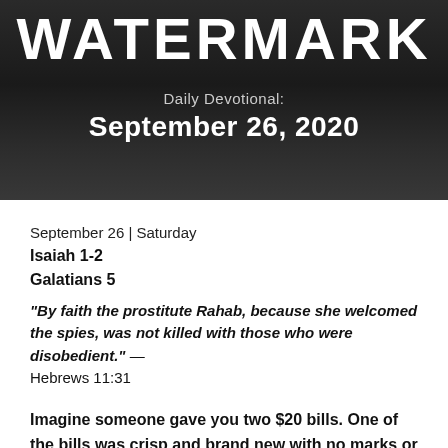[Figure (photo): Dark background header image with a blurred book/Bible in the background, showing the Watermark logo text and Daily Devotional date]
WATERMARK
Daily Devotional:
September 26, 2020
September 26 | Saturday
Isaiah 1-2
Galatians 5
“By faith the prostitute Rahab, because she welcomed the spies, was not killed with those who were disobedient.” — Hebrews 11:31
Imagine someone gave you two $20 bills. One of the bills was crisp and brand new with no marks or folds. The other was crumpled, frayed and marked up from the